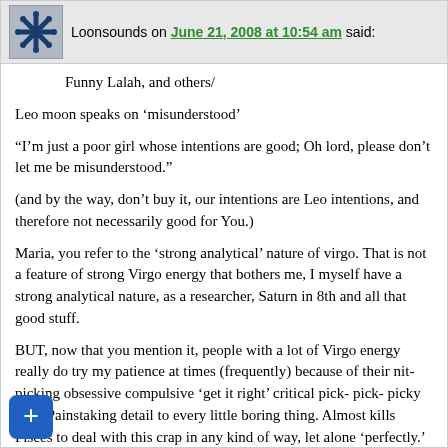Loonsounds on June 21, 2008 at 10:54 am said:
Funny Lalah, and others/
Leo moon speaks on ‘misunderstood’
“I’m just a poor girl whose intentions are good; Oh lord, please don’t let me be misunderstood.”
(and by the way, don’t buy it, our intentions are Leo intentions, and therefore not necessarily good for You.)
Maria, you refer to the ‘strong analytical’ nature of virgo. That is not a feature of strong Virgo energy that bothers me, I myself have a strong analytical nature, as a researcher, Saturn in 8th and all that good stuff.
BUT, now that you mention it, people with a lot of Virgo energy really do try my patience at times (frequently) because of their nit-picking obsessive compulsive ‘get it right’ critical pick- pick- picky side. Painstaking detail to every little boring thing. Almost kills Pisces to deal with this crap in any kind of way, let alone ‘perfectly.’
I have a lot of Pisces energy, my mother has a lot of Virgo. I am trying to help her right now, but you should see, for example, the detailed grocery lists she gives me. Exact quantity, brand, flavor, ze…ungodly detailed. If I get one thing wrong, or, god forbid, get t...